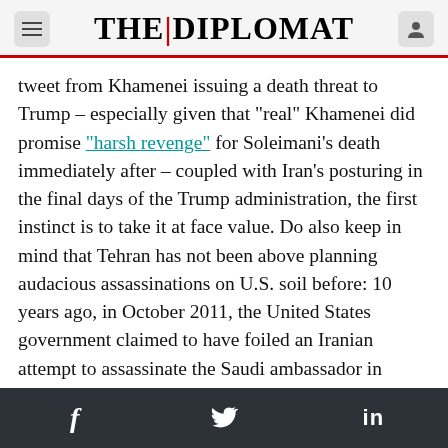THE DIPLOMAT
tweet from Khamenei issuing a death threat to Trump – especially given that “real” Khamenei did promise “harsh revenge” for Soleimani’s death immediately after – coupled with Iran’s posturing in the final days of the Trump administration, the first instinct is to take it at face value. Do also keep in mind that Tehran has not been above planning audacious assassinations on U.S. soil before: 10 years ago, in October 2011, the United States government claimed to have foiled an Iranian attempt to assassinate the Saudi ambassador in Washington – a scheme that involved, as improbable as it sounds, hiring Mexican assassins
f  ✓  in